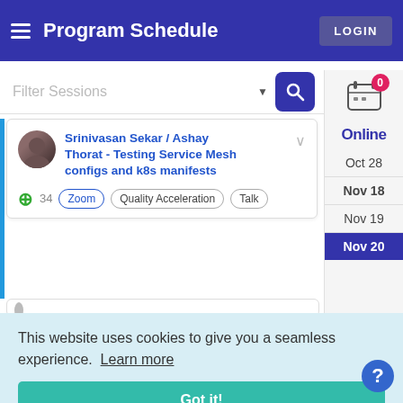Program Schedule  LOGIN
Filter Sessions
[Figure (screenshot): Session card for Srinivasan Sekar / Ashay Thorat - Testing Service Mesh configs and k8s manifests, with tags: +34, Zoom, Quality Acceleration, Talk]
Online
Oct 28
Nov 18
Nov 19
Nov 20
This website uses cookies to give you a seamless experience.  Learn more
Got it!
Considerations for Winning